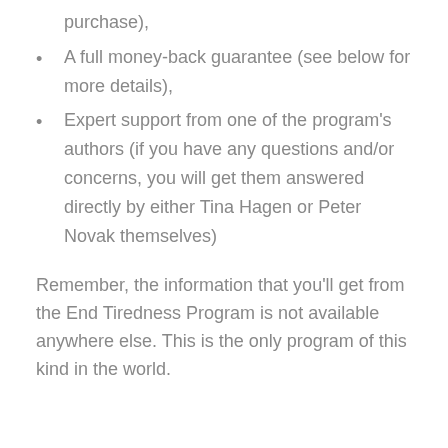purchase),
A full money-back guarantee (see below for more details),
Expert support from one of the program's authors (if you have any questions and/or concerns, you will get them answered directly by either Tina Hagen or Peter Novak themselves)
Remember, the information that you'll get from the End Tiredness Program is not available anywhere else. This is the only program of this kind in the world.